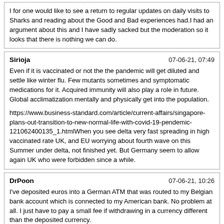I for one would like to see a return to regular updates on daily visits to Sharks and reading about the Good and Bad experiences had.I had an argument about this and I have sadly sacked but the moderation so it looks that there is nothing we can do.
Sirioja | 07-06-21, 07:49
Even if it is vaccinated or not the the pandemic will get diluted and settle like winter flu. Few mutants sometimes and symptomatic medications for it. Acquired immunity will also play a role in future. Global acclimatization mentally and physically get into the population.

https://www.business-standard.com/article/current-affairs/singapore-plans-out-transition-to-new-normal-life-with-covid-19-pendemic-121062400135_1.htmlWhen you see delta very fast spreading in high vaccinated rate UK, and EU worrying about fourth wave on this Summer under delta, not finished yet. But Germany seem to allow again UK who were forbidden since a while.
DrPoon | 07-06-21, 10:26
I've deposited euros into a German ATM that was routed to my Belgian bank account which is connected to my American bank. No problem at all. I just have to pay a small fee if withdrawing in a currency different than the deposited currency.

How easy is it for a girl to go home every time she wants to take 9999 e? In fact that is what one Welcum girl does. Every time she accrues 9000 e in cash, she takes the train back to Bulgaria. My former regular at Samya hopped on a 100 e Wizzair flight to Romania every time she got up to that much, spends time with family, and is back at work 2 weeks later.

Pimping / Loverboys / Trafficking do / does exist, but I think you listen to too many old stories and anti prostitution news if you can't conceive that GenZ / Millenial girls with smartphones and mobile / online services can't easily...